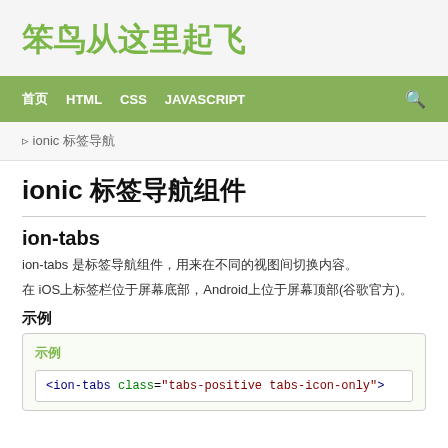笨鸟从这里起飞
首页  HTML  CSS  JAVASCRIPT  🔍
▸ ionic 标签导航
ionic 标签导航组件
ion-tabs
ion-tabs 是标签导航组件，用来在不同的视图间切换内容。
在 iOS上标签栏位于屏幕底部，Android上位于屏幕顶部(谷歌官方)。
示例
示例
<ion-tabs class="tabs-positive tabs-icon-only">